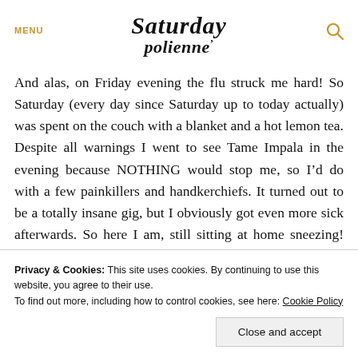MENU  Saturday polienne
And alas, on Friday evening the flu struck me hard! So Saturday (every day since Saturday up to today actually) was spent on the couch with a blanket and a hot lemon tea. Despite all warnings I went to see Tame Impala in the evening because NOTHING would stop me, so I’d do with a few painkillers and handkerchiefs. It turned out to be a totally insane gig, but I obviously got even more sick afterwards. So here I am, still sitting at home sneezing! No outfit photo for Saturday, but
Privacy & Cookies: This site uses cookies. By continuing to use this website, you agree to their use.
To find out more, including how to control cookies, see here: Cookie Policy
Close and accept